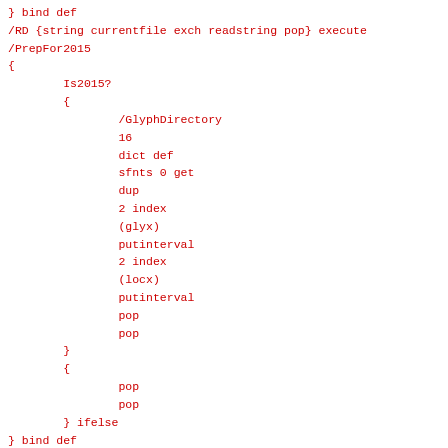/RD {string currentfile exch readstring pop} execute
/PrepFor2015
{
        Is2015?
        {
                /GlyphDirectory
                16
                dict def
                sfnts 0 get
                dup
                2 index
                (glyx)
                putinterval
                2 index
                (locx)
                putinterval
                pop
                pop
        }
        {
                pop
                pop
        } ifelse
} bind def
/AddT42Char
{
        Is2015?
        {
                /GlyphDirectory get
                begin